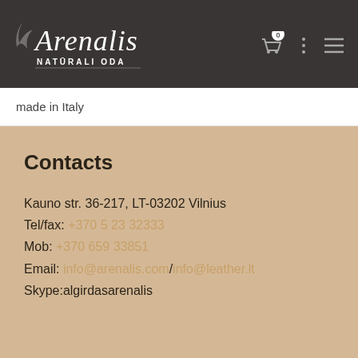Arenalis NATŪRALI ODA
made in Italy
Contacts
Kauno str. 36-217, LT-03202 Vilnius
Tel/fax: +370 5 23 32333
Mob: +370 659 33851
Email: info@arenalis.com/info@leather.lt
Skype:algirdasarenalis